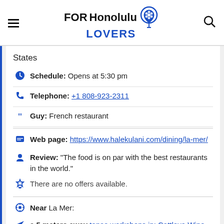FORHonolulu LOVERS
States
Schedule: Opens at 5:30 pm
Telephone: +1 808-923-2311
Guy: French restaurant
Web page: https://www.halekulani.com/dining/la-mer/
Review: "The food is on par with the best restaurants in the world."
There are no offers available.
Near La Mer:
a 5 meters away tapas workshops in: Cattleya Wine Bar
a 8 meters away rumba nightclubs in: Lewers Lounge